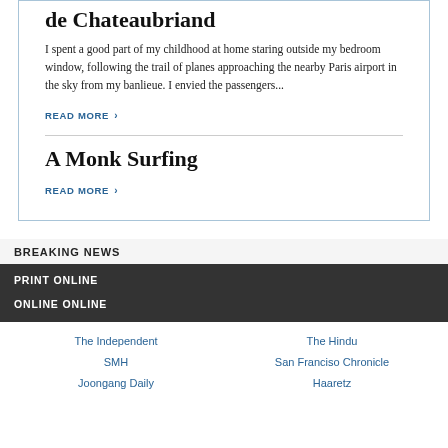de Chateaubriand
I spent a good part of my childhood at home staring outside my bedroom window, following the trail of planes approaching the nearby Paris airport in the sky from my banlieue. I envied the passengers...
READ MORE >
A Monk Surfing
READ MORE >
BREAKING NEWS
PRINT ONLINE
ONLINE ONLINE
The Independent
SMH
Joongang Daily
The Hindu
San Franciso Chronicle
Haaretz